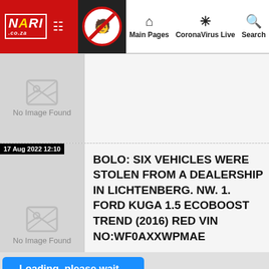[Figure (screenshot): Website navigation bar with NARI logo, grid icon, anti-COVID icon, Main Pages, CoronaVirus Live, and Search links]
[Figure (photo): No Image Found placeholder in first content row]
17 Aug 2022 12:10
[Figure (photo): No Image Found placeholder in second content row]
BOLO: SIX VEHICLES WERE STOLEN FROM A DEALERSHIP IN LICHTENBERG. NW. 1. FORD KUGA 1.5 ECOBOOST TREND (2016) RED VIN NO:WF0AXXWPMAE
Loading, please wait...